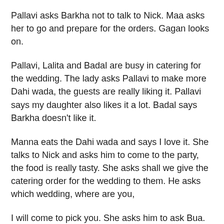Pallavi asks Barkha not to talk to Nick. Maa asks her to go and prepare for the orders. Gagan looks on.
Pallavi, Lalita and Badal are busy in catering for the wedding. The lady asks Pallavi to make more Dahi wada, the guests are really liking it. Pallavi says my daughter also likes it a lot. Badal says Barkha doesn't like it.
Manna eats the Dahi wada and says I love it. She talks to Nick and asks him to come to the party, the food is really tasty. She asks shall we give the catering order for the wedding to them. He asks which wedding, where are you,
I will come to pick you. She asks him to ask Bua. Shanky says you said Pallavi has warned you. Nick says I don't care. Gagan is on the way with his friend. She says you don't gate crash this party, they are rich people.